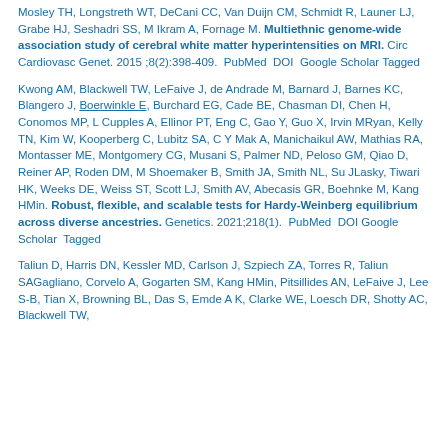Mosley TH, Longstreth WT, DeCani CC, Van Duijn CM, Schmidt R, Launer LJ, Grabe HJ, Seshadri SS, M Ikram A, Fornage M. Multiethnic genome-wide association study of cerebral white matter hyperintensities on MRI. Circ Cardiovasc Genet. 2015 ;8(2):398-409.  PubMed  DOI  Google Scholar  Tagged
Kwong AM, Blackwell TW, LeFaive J, de Andrade M, Barnard J, Barnes KC, Blangero J, Boerwinkle E, Burchard EG, Cade BE, Chasman DI, Chen H, Conomos MP, L Cupples A, Ellinor PT, Eng C, Gao Y, Guo X, Irvin MRyan, Kelly TN, Kim W, Kooperberg C, Lubitz SA, C Y Mak A, Manichaikul AW, Mathias RA, Montasser ME, Montgomery CG, Musani S, Palmer ND, Peloso GM, Qiao D, Reiner AP, Roden DM, M Shoemaker B, Smith JA, Smith NL, Su JLasky, Tiwari HK, Weeks DE, Weiss ST, Scott LJ, Smith AV, Abecasis GR, Boehnke M, Kang HMin. Robust, flexible, and scalable tests for Hardy-Weinberg equilibrium across diverse ancestries. Genetics. 2021;218(1).  PubMed  DOI  Google Scholar  Tagged
Taliun D, Harris DN, Kessler MD, Carlson J, Szpiech ZA, Torres R, Taliun SAGagliano, Corvelo A, Gogarten SM, Kang HMin, Pitsillides AN, LeFaive J, Lee S-B, Tian X, Browning BL, Das S, Emde A K, Clarke WE, Loesch DR, Shotty AC, Blackwell TW...